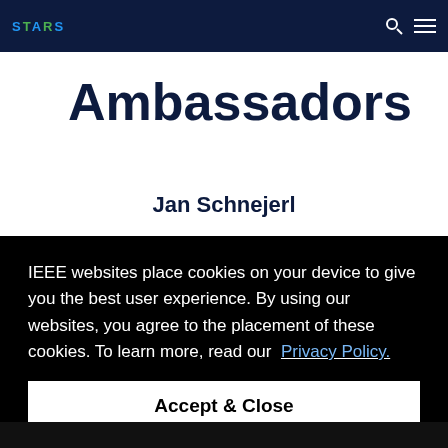STARS
Ambassadors
Jan Schnejerl
IEEE websites place cookies on your device to give you the best user experience. By using our websites, you agree to the placement of these cookies. To learn more, read our Privacy Policy.
Accept & Close